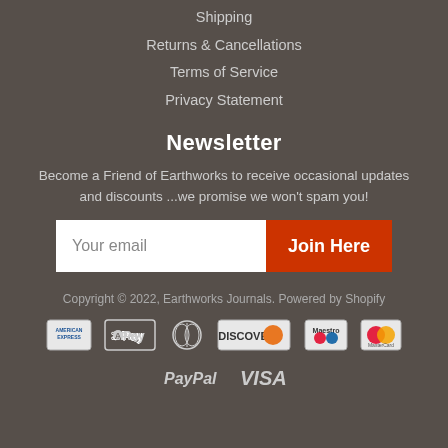Shipping
Returns & Cancellations
Terms of Service
Privacy Statement
Newsletter
Become a Friend of Earthworks to receive occasional updates and discounts ...we promise we won't spam you!
Your email [input field] Join Here [button]
Copyright © 2022, Earthworks Journals. Powered by Shopify
[Figure (other): Payment method icons: American Express, Apple Pay, Diners Club, Discover, Maestro, MasterCard, PayPal, Visa]